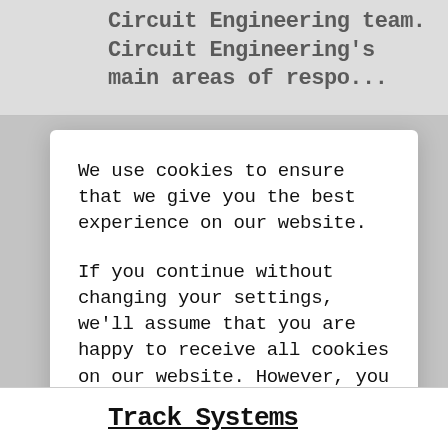Circuit Engineering team. Circuit Engineering's main areas of respo...
We use cookies to ensure that we give you the best experience on our website.
If you continue without changing your settings, we'll assume that you are happy to receive all cookies on our website. However, you can change your cookie settings at any time.
Continue
Track Systems